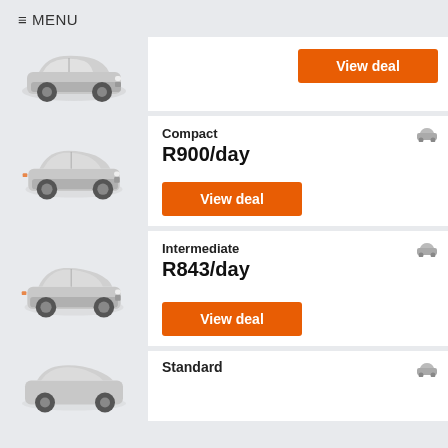≡ MENU
[Figure (illustration): Silver car illustration, partially visible card with View deal button]
View deal
Compact
R900/day
[Figure (illustration): Silver compact car illustration]
View deal
Intermediate
R843/day
[Figure (illustration): Silver intermediate car illustration]
View deal
Standard
[Figure (illustration): Silver standard car illustration, partially visible]